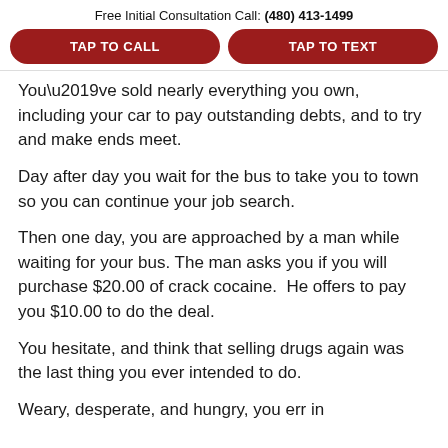Free Initial Consultation Call: (480) 413-1499
TAP TO CALL
TAP TO TEXT
You’ve sold nearly everything you own, including your car to pay outstanding debts, and to try and make ends meet.
Day after day you wait for the bus to take you to town so you can continue your job search.
Then one day, you are approached by a man while waiting for your bus. The man asks you if you will purchase $20.00 of crack cocaine.  He offers to pay you $10.00 to do the deal.
You hesitate, and think that selling drugs again was the last thing you ever intended to do.
Weary, desperate, and hungry, you err in